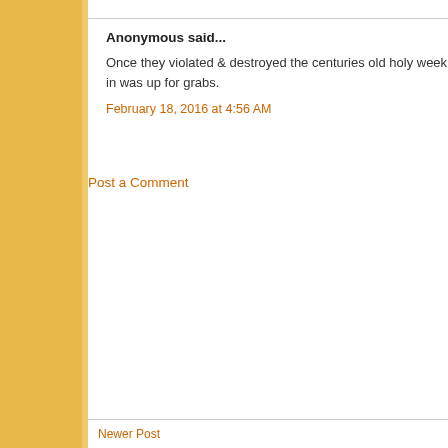Anonymous said...
Once they violated & destroyed the centuries old holy week in was up for grabs.
February 18, 2016 at 4:56 AM
Post a Comment